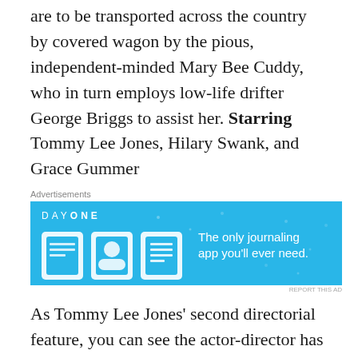are to be transported across the country by covered wagon by the pious, independent-minded Mary Bee Cuddy, who in turn employs low-life drifter George Briggs to assist her. Starring Tommy Lee Jones, Hilary Swank, and Grace Gummer
[Figure (other): Day One journaling app advertisement. Blue background with Day One logo, three app icon illustrations, and tagline: The only journaling app you'll ever need.]
As Tommy Lee Jones' second directorial feature, you can see the actor-director has matured in every sense of the job. Swank and Jones have a terrific chemistry that makes Homesman feel more fresh than this dry western would have you believe. It can feel like a slog in most cases, but
[Figure (other): Pocket Casts advertisement. Red background with text: An app by listeners, for listeners. Pocket Casts logo on right side.]